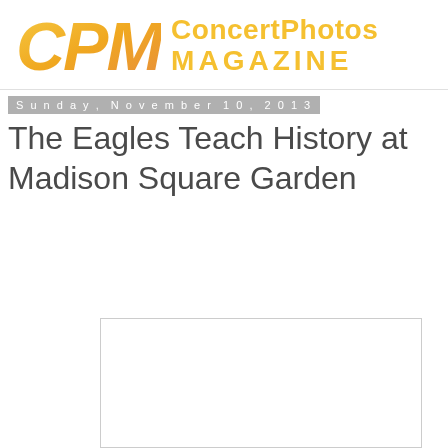CPM ConcertPhotos MAGAZINE
Sunday, November 10, 2013
The Eagles Teach History at Madison Square Garden
[Figure (photo): A white/blank photo placeholder image with a light gray border]